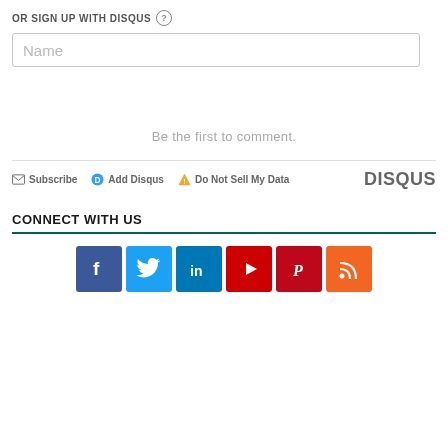OR SIGN UP WITH DISQUS ?
Name
Be the first to comment.
Subscribe   Add Disqus   Do Not Sell My Data   DISQUS
CONNECT WITH US
[Figure (other): Social media icons: Facebook, Twitter, LinkedIn, YouTube, Pinterest, RSS]